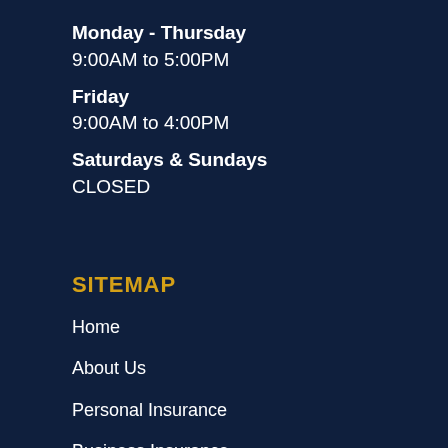Monday - Thursday
9:00AM to 5:00PM
Friday
9:00AM to 4:00PM
Saturdays & Sundays
CLOSED
SITEMAP
Home
About Us
Personal Insurance
Business Insurance
Customer Service